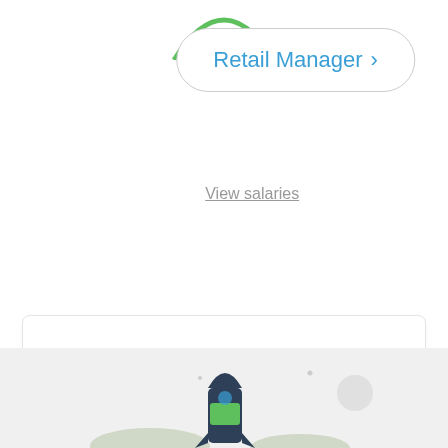Retail Manager >
View salaries
More common (> 20%)
Somewhat common (8 - 20%)
Less common (< 8%)
[Figure (illustration): Rocket ship illustration at bottom of page on grey background]